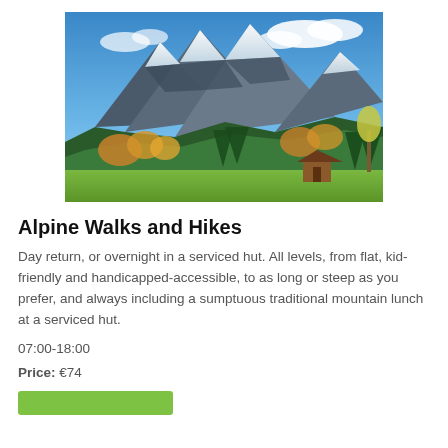[Figure (photo): Alpine mountain landscape with snow-capped peaks, forested slopes with autumn-colored trees, green meadow in foreground, and a small wooden cabin/hut.]
Alpine Walks and Hikes
Day return, or overnight in a serviced hut. All levels, from flat, kid-friendly and handicapped-accessible, to as long or steep as you prefer, and always including a sumptuous traditional mountain lunch at a serviced hut.
07:00-18:00
Price: €74